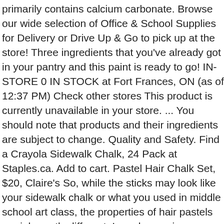primarily contains calcium carbonate. Browse our wide selection of Office & School Supplies for Delivery or Drive Up & Go to pick up at the store! Three ingredients that you've already got in your pantry and this paint is ready to go! IN-STORE 0 IN STOCK at Fort Frances, ON (as of 12:37 PM) Check other stores This product is currently unavailable in your store. ... You should note that products and their ingredients are subject to change. Quality and Safety. Find a Crayola Sidewalk Chalk, 24 Pack at Staples.ca. Add to cart. Pastel Hair Chalk Set, $20, Claire's So, while the sticks may look like your sidewalk chalk or what you used in middle school art class, the properties of hair pastels are inherently different. I used wrapping paper tubes rescued from the recycling bin as molds, as they have a smaller diameter than toilet paper or paper-towel tubes, better for small hands. The possibilities of what kids can create by using their imaginations are endless! 0 Reviews. You'll mix all the ingredients, pour the mix into the molds and let them dry. What are the ingredients in Crayola chalk? Average Rating: (4.889) out of 5 stars 9 ratings, based